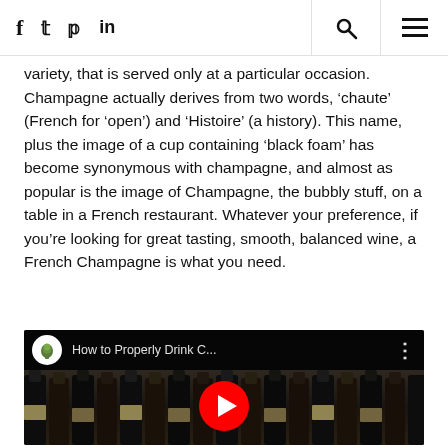f  twitter  pinterest  in  [search] [menu]
variety, that is served only at a particular occasion. Champagne actually derives from two words, 'chaute' (French for 'open') and 'Histoire' (a history). This name, plus the image of a cup containing 'black foam' has become synonymous with champagne, and almost as popular is the image of Champagne, the bubbly stuff, on a table in a French restaurant. Whatever your preference, if you're looking for great tasting, smooth, balanced wine, a French Champagne is what you need.
[Figure (screenshot): YouTube video embed thumbnail showing wine/champagne bottles in background, with video title 'How to Properly Drink C...' and a YouTube play button overlay]